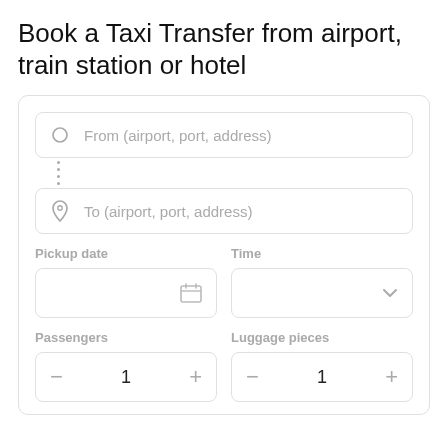Book a Taxi Transfer from airport, train station or hotel
[Figure (screenshot): Taxi booking form UI with From/To address fields, Pickup date with calendar icon, Time dropdown, Passengers stepper (value: 1), and Luggage pieces stepper (value: 1)]